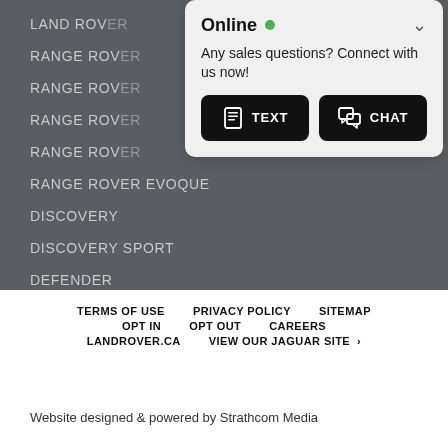LAND ROVER
RANGE ROVER
RANGE ROVER
RANGE ROVER
RANGE ROVER
RANGE ROVER EVOQUE
DISCOVERY
DISCOVERY SPORT
DEFENDER
[Figure (screenshot): Online chat popup with green dot, message 'Any sales questions? Connect with us now!', TEXT button and CHAT button]
TERMS OF USE   PRIVACY POLICY   SITEMAP   OPT IN   OPT OUT   CAREERS   LANDROVER.CA   VIEW OUR JAGUAR SITE ›
Website designed & powered by Strathcom Media